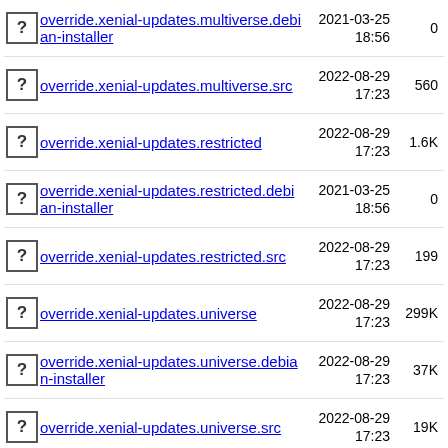override.xenial-updates.multiverse.debian-installer  2021-03-25 18:56  0
override.xenial-updates.multiverse.src  2022-08-29 17:23  560
override.xenial-updates.restricted  2022-08-29 17:23  1.6K
override.xenial-updates.restricted.debian-installer  2021-03-25 18:56  0
override.xenial-updates.restricted.src  2022-08-29 17:23  199
override.xenial-updates.universe  2022-08-29 17:23  299K
override.xenial-updates.universe.debian-installer  2022-08-29 17:23  37K
override.xenial-updates.universe.src  2022-08-29 17:23  19K
override.xenial.extra.main  2016-04-21 19:16  8.3M
override.xenial.extra.multiverse  2016-04-21 19:16  7.7M
override.xenial.extra.restricted  2016-04-21 19:16  7.6M
override.xenial.extra.universe  2016-04-  12M